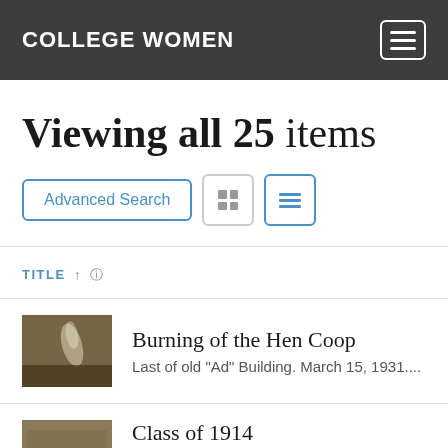COLLEGE WOMEN
Viewing all 25 items
Advanced Search
TITLE
Burning of the Hen Coop
Last of old "Ad" Building. March 15, 1931....
Class of 1914